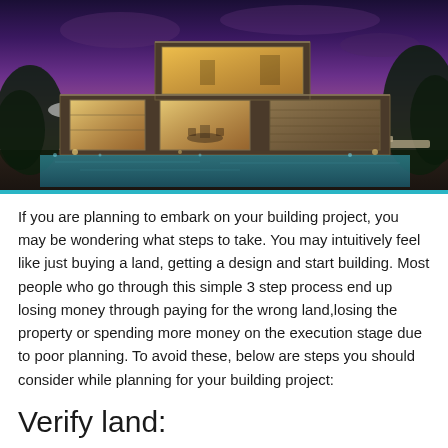[Figure (photo): A modern luxury house with large glass windows illuminated from inside, photographed at dusk with a purple/pink sky. The house has two floors with large glazed walls, a swimming pool in the foreground, and trees on the sides.]
If you are planning to embark on your building project, you may be wondering what steps to take. You may intuitively feel like just buying a land, getting a design and start building. Most people who go through this simple 3 step process end up losing money through paying for the wrong land,losing the property or spending more money on the execution stage due to poor planning. To avoid these, below are steps you should consider while planning for your building project:
Verify land:
Land verification is important should be the first step you take towards